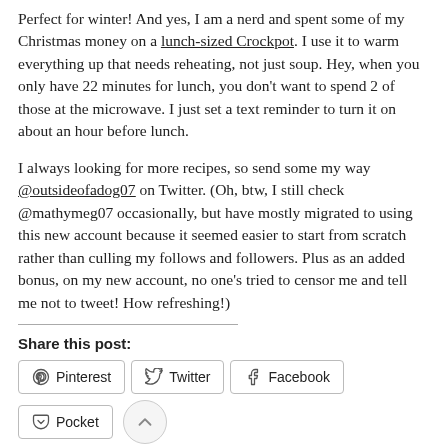Perfect for winter! And yes, I am a nerd and spent some of my Christmas money on a lunch-sized Crockpot. I use it to warm everything up that needs reheating, not just soup. Hey, when you only have 22 minutes for lunch, you don't want to spend 2 of those at the microwave. I just set a text reminder to turn it on about an hour before lunch.
I always looking for more recipes, so send some my way @outsideofadog07 on Twitter. (Oh, btw, I still check @mathymeg07 occasionally, but have mostly migrated to using this new account because it seemed easier to start from scratch rather than culling my follows and followers. Plus as an added bonus, on my new account, no one's tried to censor me and tell me not to tweet! How refreshing!)
Share this post:
Pinterest  Twitter  Facebook  Pocket  Print